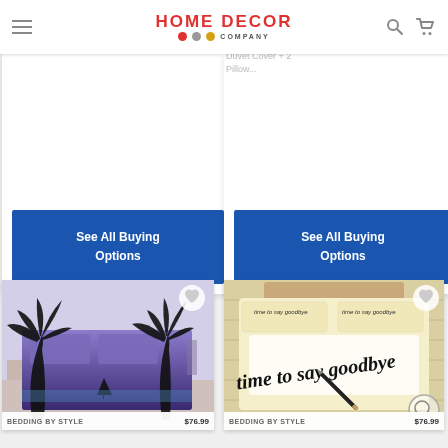HOME DECOR COMPANY
for Windows, 50X18, Blue
Pieces Lightweight Lightweight University (1 Duvet Cover + 2 Pillow...
See All Buying Options
See All Buying Options
[Figure (photo): Purple/dark bedroom scene with palm trees silhouette bedding set]
[Figure (photo): Cream/beige bedding set with 'time to say goodbye' handwriting text]
BEDDING BY STYLE $76.99
BEDDING BY STYLE $76.99